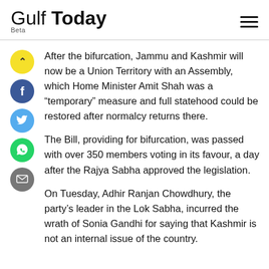Gulf Today Beta
After the bifurcation, Jammu and Kashmir will now be a Union Territory with an Assembly, which Home Minister Amit Shah was a “temporary” measure and full statehood could be restored after normalcy returns there.
The Bill, providing for bifurcation, was passed with over 350 members voting in its favour, a day after the Rajya Sabha approved the legislation.
On Tuesday, Adhir Ranjan Chowdhury, the party’s leader in the Lok Sabha, incurred the wrath of Sonia Gandhi for saying that Kashmir is not an internal issue of the country.